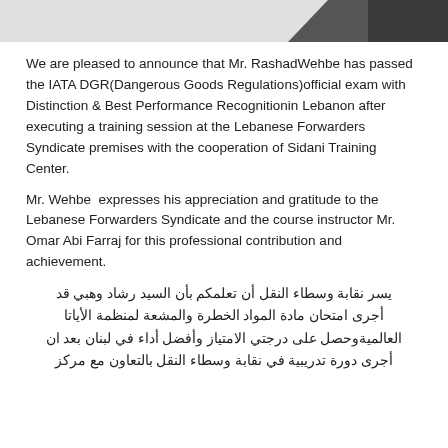[Figure (photo): Top portion of a document page with a dark gray/black object visible in the upper right corner against a light background]
We are pleased to announce that Mr. RashadWehbe has passed the IATA DGR(Dangerous Goods Regulations)official exam with Distinction & Best Performance Recognitionin Lebanon after executing a training session at the Lebanese Forwarders Syndicate premises with the cooperation of Sidani Training Center.
Mr. Wehbe  expresses his appreciation and gratitude to the Lebanese Forwarders Syndicate and the course instructor Mr. Omar Abi Farraj for this professional contribution and achievement.
يسر نقابة وسطاء النقل أن تعلمكم بأن السيد رشاد وهبي قد أجرى امتحان مادة المواد الخطرة والمشعة لمنظمة الأياتا العالميةوحصل على درجتي الامتياز وأفضل أداء في لبنان بعد ان أجرى دورة تدريبية في نقابة وسطاء النقل بالتعاون مع مركز